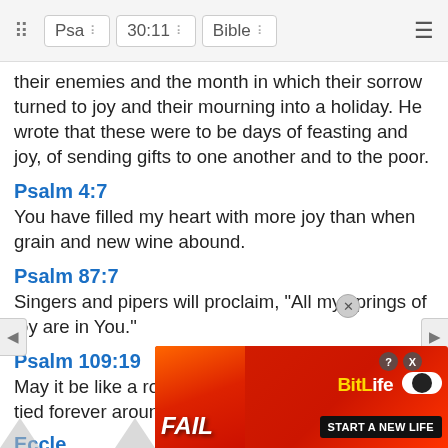Psa  30:11  Bible
their enemies and the month in which their sorrow turned to joy and their mourning into a holiday. He wrote that these were to be days of feasting and joy, of sending gifts to one another and to the poor.
Psalm 4:7
You have filled my heart with more joy than when grain and new wine abound.
Psalm 87:7
Singers and pipers will proclaim, "All my springs of joy are in You."
Psalm 109:19
May it be like a robe wrapped about him, like a belt tied forever around him.
Eccle
a time